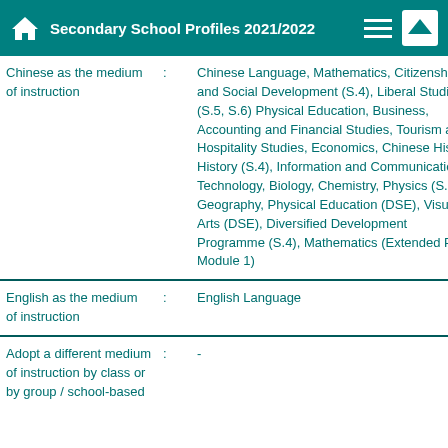Secondary School Profiles 2021/2022
| Category | : | Value |
| --- | --- | --- |
| Chinese as the medium of instruction | : | Chinese Language, Mathematics, Citizenship and Social Development (S.4), Liberal Studies (S.5, S.6) Physical Education, Business, Accounting and Financial Studies, Tourism and Hospitality Studies, Economics, Chinese History, History (S.4), Information and Communication Technology, Biology, Chemistry, Physics (S.4), Geography, Physical Education (DSE), Visual Arts (DSE), Diversified Development Programme (S.4), Mathematics (Extended Part Module 1) |
| English as the medium of instruction | : | English Language |
| Adopt a different medium of instruction by class or by group / school-based | : | - |